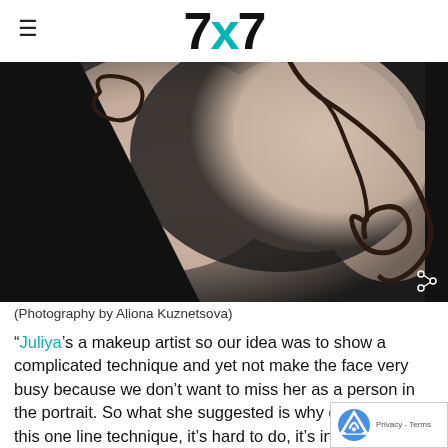7x7
[Figure (photo): Close-up photo of a person's neck, shoulder and arm with dark body paint lines forming loops and curves on light skin, against a dark clothing background. Photography by Aliona Kuznetsova.]
(Photography by Aliona Kuznetsova)
“Juliya’s a makeup artist so our idea was to show a complicated technique and yet not make the face very busy because we don’t want to miss her as a person in the portrait. So what she suggested is why don’t we use this one line technique, it’s hard to do, it’s interesting looking, but it’s not very busy. An said ‘ok, let’s do this but let’s make it run not on your face but also on your neck and shoulder and